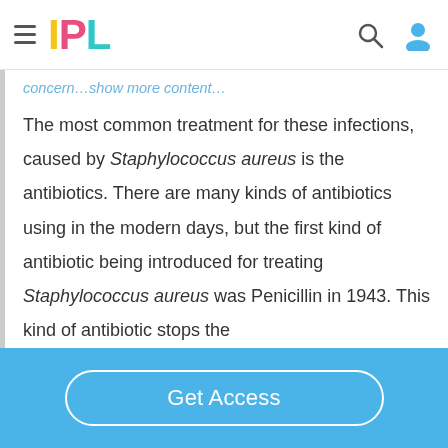IPL (hamburger menu, search icon, user icon)
concern…show more content…
The most common treatment for these infections, caused by Staphylococcus aureus is the antibiotics. There are many kinds of antibiotics using in the modern days, but the first kind of antibiotic being introduced for treating Staphylococcus aureus was Penicillin in 1943. This kind of antibiotic stops the
Get Access